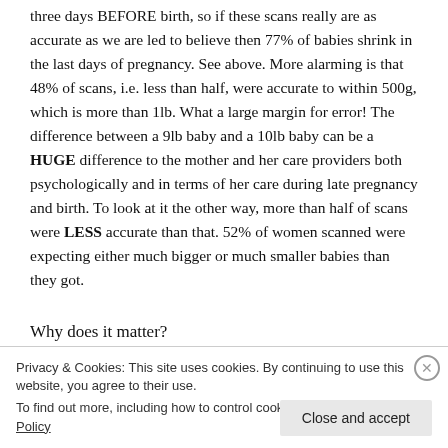three days BEFORE birth, so if these scans really are as accurate as we are led to believe then 77% of babies shrink in the last days of pregnancy. See above. More alarming is that 48% of scans, i.e. less than half, were accurate to within 500g, which is more than 1lb. What a large margin for error! The difference between a 9lb baby and a 10lb baby can be a HUGE difference to the mother and her care providers both psychologically and in terms of her care during late pregnancy and birth. To look at it the other way, more than half of scans were LESS accurate than that. 52% of women scanned were expecting either much bigger or much smaller babies than they got.
Why does it matter?
Privacy & Cookies: This site uses cookies. By continuing to use this website, you agree to their use.
To find out more, including how to control cookies, see here: Cookie Policy